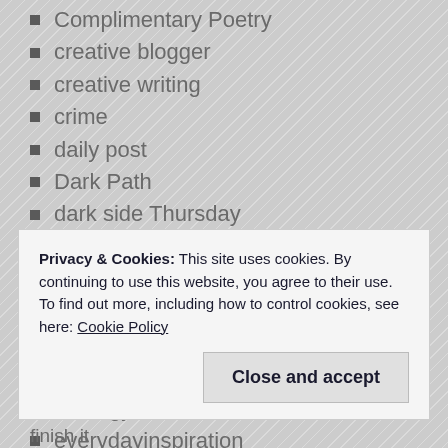Complimentary Poetry
creative blogger
creative writing
crime
daily post
Dark Path
dark side Thursday
Diets
dogs
Dreams
drink
drugs
Ecology
everydayinspiration
exploring my world
Privacy & Cookies: This site uses cookies. By continuing to use this website, you agree to their use.
To find out more, including how to control cookies, see here: Cookie Policy
Close and accept
finish it